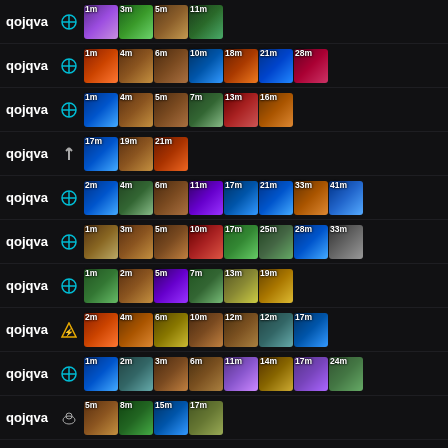qojqva | role: cross | items: 1m 3m 5m 11m
qojqva | role: cross | items: 1m 4m 6m 10m 18m 21m 28m
qojqva | role: cross | items: 1m 4m 5m 7m 13m 16m
qojqva | role: sword | items: 17m 19m 21m
qojqva | role: cross | items: 2m 4m 6m 11m 17m 21m 33m 41m
qojqva | role: cross | items: 1m 3m 5m 10m 17m 25m 28m 33m
qojqva | role: cross | items: 1m 2m 5m 7m 13m 19m
qojqva | role: shield | items: 2m 4m 6m 10m 12m 12m 17m
qojqva | role: cross | items: 1m 2m 3m 6m 11m 14m 17m 24m
qojqva | role: special | items: 5m 8m 15m 17m